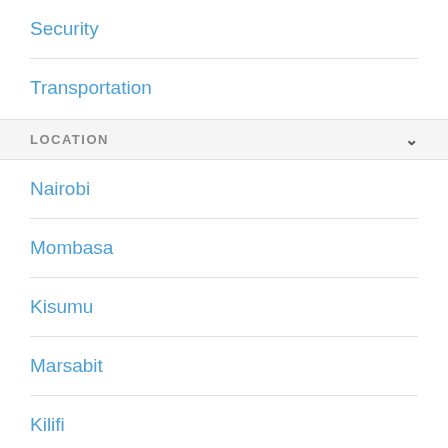Security
Transportation
LOCATION
Nairobi
Mombasa
Kisumu
Marsabit
Kilifi